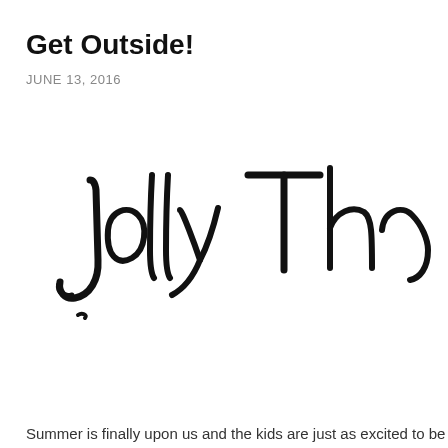Get Outside!
JUNE 13, 2016
[Figure (illustration): Handwritten cursive text reading 'Jolly Thou' in large black brush script, partially cropped on the right side]
Summer is finally upon us and the kids are just as excited to be ou